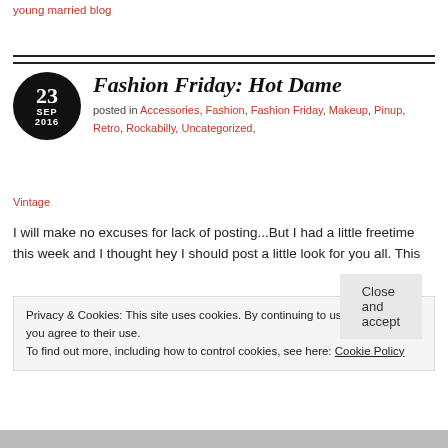young married blog
Fashion Friday: Hot Dame
posted in Accessories, Fashion, Fashion Friday, Makeup, Pinup, Retro, Rockabilly, Uncategorized, Vintage
I will make no excuses for lack of posting...But I had a little freetime this week and I thought hey I should post a little look for you all. This
Privacy & Cookies: This site uses cookies. By continuing to use this website, you agree to their use.
To find out more, including how to control cookies, see here: Cookie Policy
Close and accept